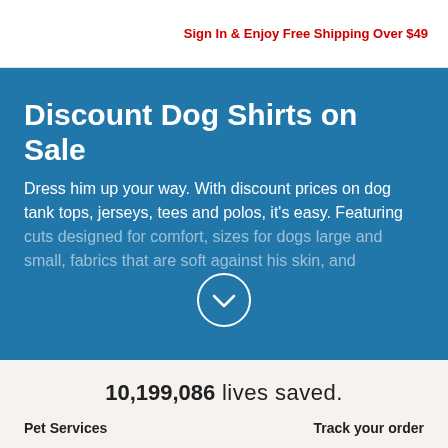Sign In & Enjoy Free Shipping Over $49
Discount Dog Shirts on Sale
Dress him up your way. With discount prices on dog tank tops, jerseys, tees and polos, it's easy. Featuring cuts designed for comfort, sizes for dogs large and small, fabrics that are soft against his skin, and
[Figure (illustration): Circular chevron/down-arrow button in white outline on blue background]
10,199,086 lives saved.
Pet Services
Track your order